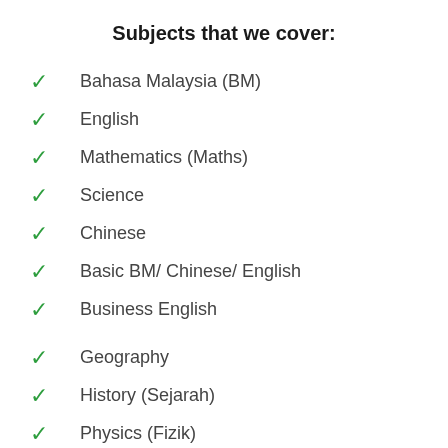Subjects that we cover:
Bahasa Malaysia (BM)
English
Mathematics (Maths)
Science
Chinese
Basic BM/ Chinese/ English
Business English
Geography
History (Sejarah)
Physics (Fizik)
Chemistry (Kimia)